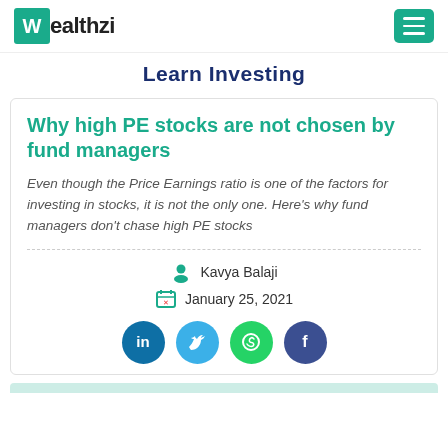Wealthzi
Learn Investing
Why high PE stocks are not chosen by fund managers
Even though the Price Earnings ratio is one of the factors for investing in stocks, it is not the only one. Here's why fund managers don't chase high PE stocks
Kavya Balaji
January 25, 2021